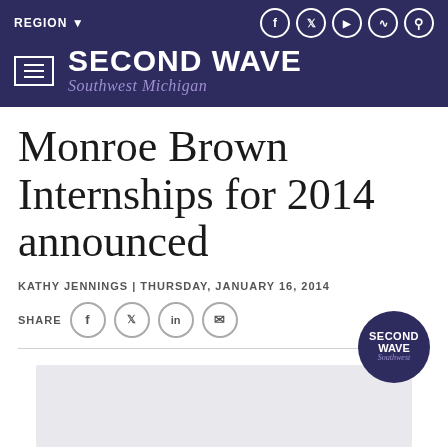SECOND WAVE Southwest Michigan
Monroe Brown Internships for 2014 announced
KATHY JENNINGS | THURSDAY, JANUARY 16, 2014
SHARE
[Figure (logo): Second Wave Southwest Michigan circular logo badge]